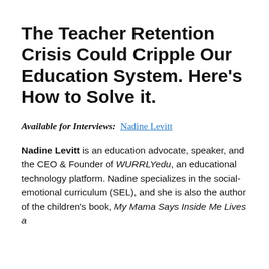The Teacher Retention Crisis Could Cripple Our Education System. Here's How to Solve it.
Available for Interviews:  Nadine Levitt
Nadine Levitt is an education advocate, speaker, and the CEO & Founder of WURRLYedu, an educational technology platform. Nadine specializes in the social-emotional curriculum (SEL), and she is also the author of the children's book, My Mama Says Inside Me Lives a